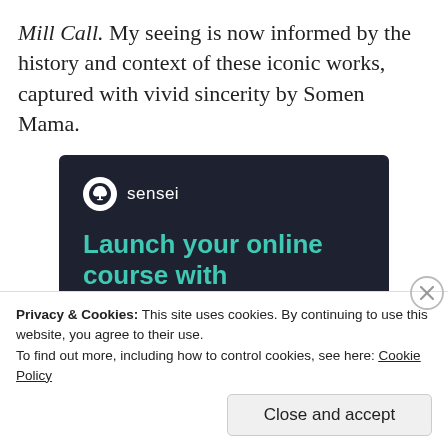Mill Call. My seeing is now informed by the history and context of these iconic works, captured with vivid sincerity by Somen Mama.
[Figure (other): Sensei advertisement banner with dark navy background. Shows the Sensei logo (tree icon in white circle) and the text 'Launch your online course with WordPress' in teal, with a 'Learn More' teal button.]
Privacy & Cookies: This site uses cookies. By continuing to use this website, you agree to their use.
To find out more, including how to control cookies, see here: Cookie Policy
Close and accept